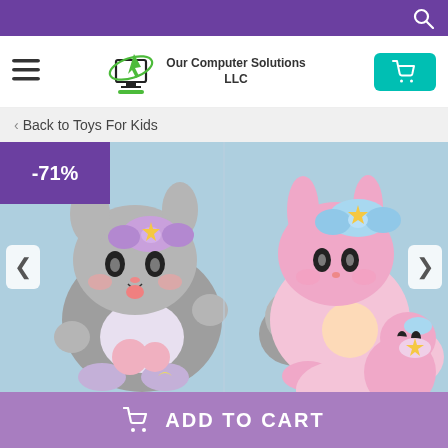Our Computer Solutions LLC - search bar top
Our Computer Solutions LLC - navigation bar with hamburger menu, logo, cart
< Back to Toys For Kids
[Figure (photo): Product photo of Sanrio Kuromi and My Melody plush stuffed animal toys in pastel gray and pink colors with star and moon decorations, showing large and small versions of each character against a light blue background. A -71% discount badge is shown in the top left corner.]
ADD TO CART